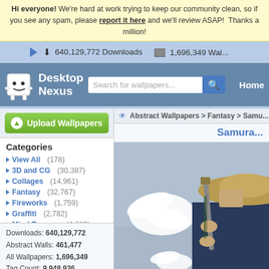Hi everyone! We're hard at work trying to keep our community clean, so if you see any spam, please report it here and we'll review ASAP! Thanks a million!
640,129,772 Downloads   1,696,349 Wal...
[Figure (screenshot): Desktop Nexus website header with logo, search bar, and Home navigation link]
Upload Wallpapers
Abstract Wallpapers > Fantasy > Samu...
Categories
View All (178)
3D and CG (30,387)
Collages (14,961)
Fantasy (32,767)
Fireworks (1,759)
Graffiti (2,782)
Mind Teasers (4,803)
Photography (32,767)
Textures (31,130)
Other (32,767)
Downloads: 640,129,772
Abstract Walls: 461,477
All Wallpapers: 1,696,349
Tag Count: 9,948,936
Samura...
[Figure (photo): Samurai warrior wearing straw hat, holding a katana sword, with a white dove flying nearby]